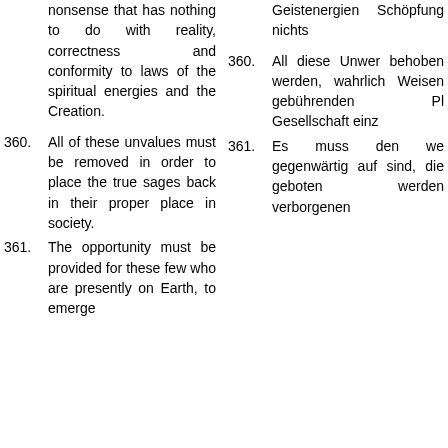nonsense that has nothing to do with reality, correctness and conformity to laws of the spiritual energies and the Creation.
Geistenergien Schöpfung nichts
360. All of these unvalues must be removed in order to place the true sages back in their proper place in society.
360. All diese Unwer behoben werden, wahrlich Weisen gebührenden Pl Gesellschaft einz
361. The opportunity must be provided for these few who are presently on Earth, to emerge
361. Es muss den we gegenwärtig auf sind, die geboten werden verborgenen